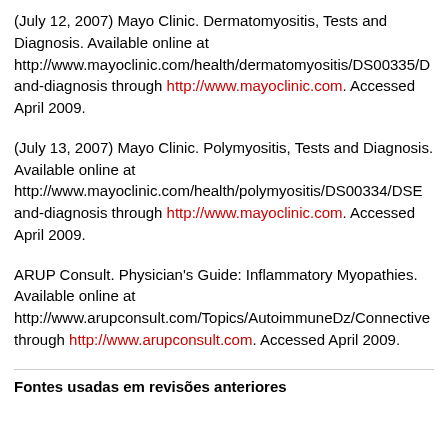(July 12, 2007) Mayo Clinic. Dermatomyositis, Tests and Diagnosis. Available online at http://www.mayoclinic.com/health/dermatomyositis/DS00335/D and-diagnosis through http://www.mayoclinic.com. Accessed April 2009.
(July 13, 2007) Mayo Clinic. Polymyositis, Tests and Diagnosis. Available online at http://www.mayoclinic.com/health/polymyositis/DS00334/DSE and-diagnosis through http://www.mayoclinic.com. Accessed April 2009.
ARUP Consult. Physician's Guide: Inflammatory Myopathies. Available online at http://www.arupconsult.com/Topics/AutoimmuneDz/Connective through http://www.arupconsult.com. Accessed April 2009.
Fontes usadas em revisões anteriores